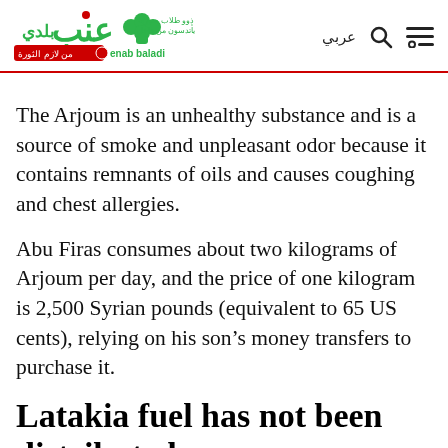Enab Baladi — عربي
The Arjoum is an unhealthy substance and is a source of smoke and unpleasant odor because it contains remnants of oils and causes coughing and chest allergies.
Abu Firas consumes about two kilograms of Arjoum per day, and the price of one kilogram is 2,500 Syrian pounds (equivalent to 65 US cents), relying on his son's money transfers to purchase it.
Latakia fuel has not been distributed
The areas under the control of the Syrian regime suffering from fuel scarcity in the hard...